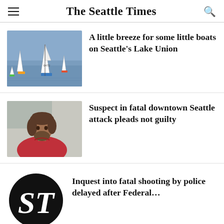The Seattle Times
A little breeze for some little boats on Seattle's Lake Union
Suspect in fatal downtown Seattle attack pleads not guilty
Inquest into fatal shooting by police delayed after Federal...